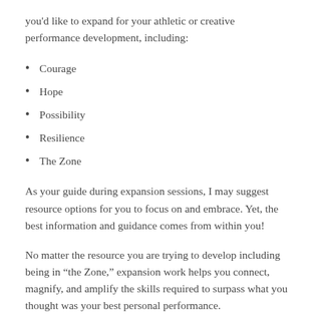you'd like to expand for your athletic or creative performance development, including:
Courage
Hope
Possibility
Resilience
The Zone
As your guide during expansion sessions, I may suggest resource options for you to focus on and embrace. Yet, the best information and guidance comes from within you!
No matter the resource you are trying to develop including being in “the Zone,” expansion work helps you connect, magnify, and amplify the skills required to surpass what you thought was your best personal performance.